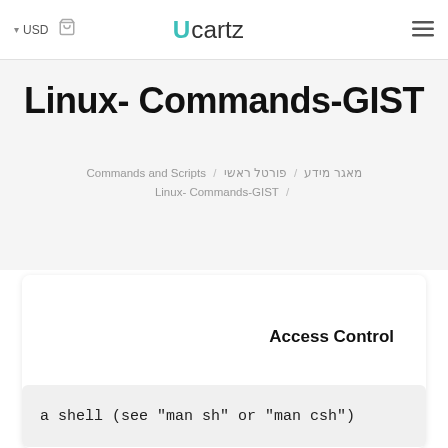USD  [cart icon]  Ucartz  [menu]
Linux- Commands-GIST
Commands and Scripts / מאגר מידע / פורטל ראשי
Linux- Commands-GIST /
Access Control
a shell (see "man sh" or "man csh")